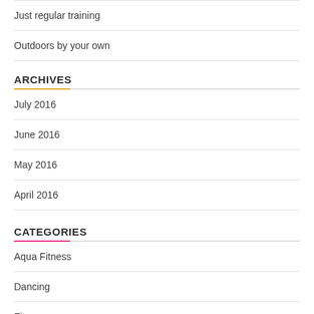Just regular training
Outdoors by your own
ARCHIVES
July 2016
June 2016
May 2016
April 2016
CATEGORIES
Aqua Fitness
Dancing
Fitness